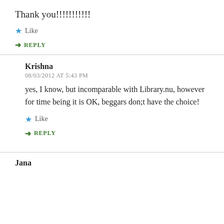Thank you!!!!!!!!!!
★ Like
➜ REPLY
Krishna
08/03/2012 AT 5:43 PM
yes, I know, but incomparable with Library.nu, however for time being it is OK, beggars don;t have the choice!
★ Like
➜ REPLY
Jana